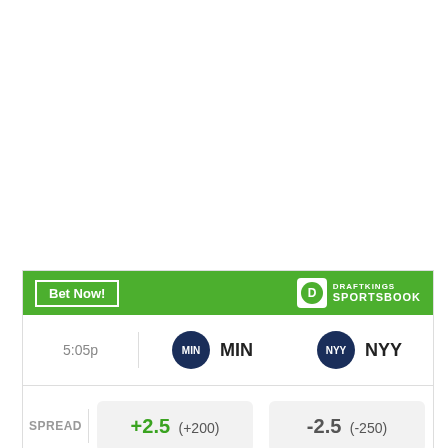|  | MIN | NYY |
| --- | --- | --- |
| 5:05p | MIN | NYY |
| SPREAD | +2.5 (+200) | -2.5 (-250) |
| MONEY LINE | +1400 | -5000 |